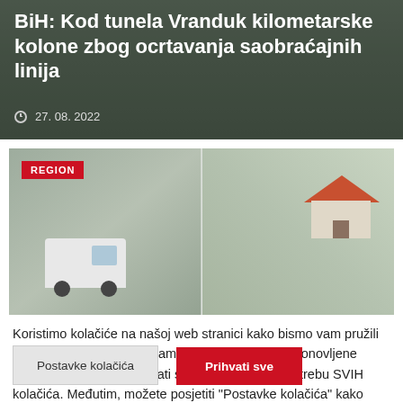[Figure (photo): Dark overhead road scene serving as article thumbnail banner]
BiH: Kod tunela Vranduk kilometarske kolone zbog ocrtavanja saobraćajnih linija
27. 08. 2022
[Figure (photo): Region-tagged photo showing a road accident scene with a white van and a house in the background]
Koristimo kolačiće na našoj web stranici kako bismo vam pružili najrelevantnije iskustvo pamteći vaše postavke i ponovljene posjete. Klikom na "Prihvati sve" pristajete na upotrebu SVIH kolačića. Međutim, možete posjetiti "Postavke kolačića" kako biste dali kontrolirani pristanak.
Postavke kolačića
Prihvati sve